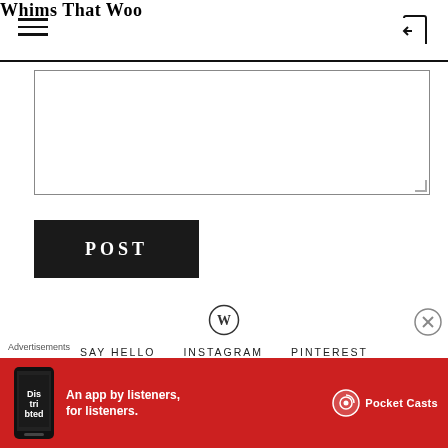Whims That Woo
[Figure (other): Empty textarea input box with resize handle at bottom right]
POST
[Figure (logo): WordPress logo (W in circle)]
SAY HELLO   INSTAGRAM   PINTEREST
YOUTUBE   FACEBOOK   LINKEDIN
Advertisements
[Figure (infographic): Pocket Casts advertisement banner: red background, phone graphic, text 'An app by listeners, for listeners.' with Pocket Casts logo]